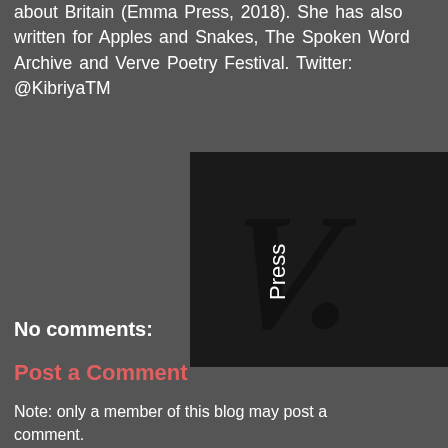about Britain (Emma Press, 2018). She has also written for Apples and Snakes, The Spoken Word Archive and Verve Poetry Festival. Twitter: @KibriyaTM
[Figure (logo): V Press logo — dark/black background rectangle with a large italic V and the word 'Press' in small text overlapping it, followed by a period.]
No comments:
Post a Comment
Note: only a member of this blog may post a comment.